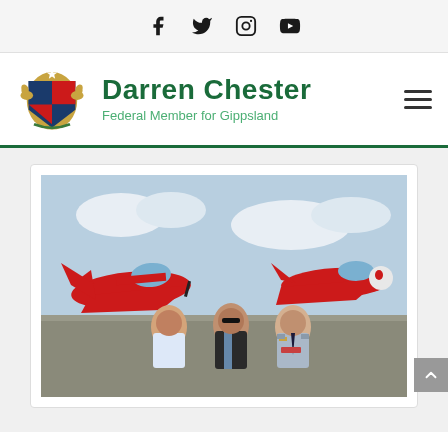Social media icons: Facebook, Twitter, Instagram, YouTube
[Figure (logo): Darren Chester - Federal Member for Gippsland website header with Australian coat of arms logo, site name, and hamburger menu]
[Figure (photo): Three men standing in front of red military training aircraft on a tarmac. The man on the left wears a white shirt, the man in the middle wears a black leather jacket with a tie, and the man on the right wears an Australian Air Force uniform.]